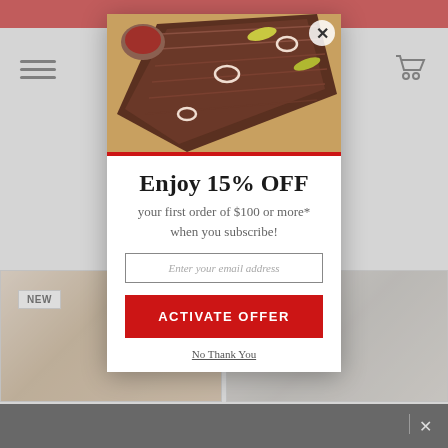[Figure (screenshot): Background website page with red top bar, hamburger menu icon, cart icon, food product images, and NEW badge label]
[Figure (photo): Photo of sliced BBQ brisket on wooden cutting board with sauce, onion rings, and pickled peppers, shown at top of modal popup]
Enjoy 15% OFF
your first order of $100 or more* when you subscribe!
Enter your email address
ACTIVATE OFFER
No Thank You